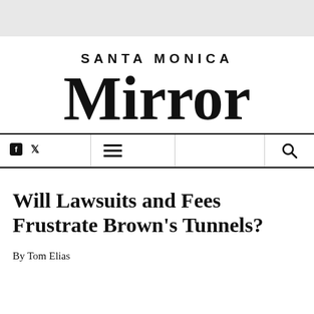[Figure (logo): Santa Monica Mirror newspaper masthead logo in blackletter/gothic typeface]
[Figure (infographic): Navigation bar with social media icons (Facebook, Twitter), hamburger menu icon, and search icon]
Will Lawsuits and Fees Frustrate Brown’s Tunnels?
By Tom Elias